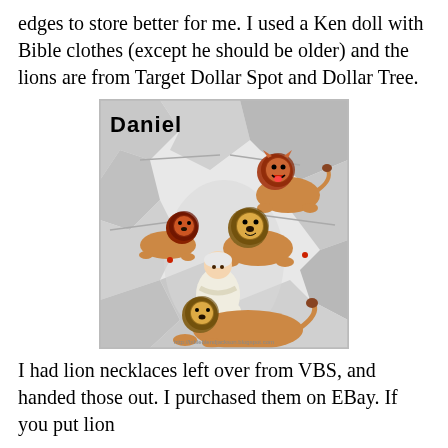edges to store better for me. I used a Ken doll with Bible clothes (except he should be older) and the lions are from Target Dollar Spot and Dollar Tree.
[Figure (illustration): Illustration titled 'Daniel' showing Daniel in the lions' den. Daniel, an elderly man in white robes, sits among rocky cave walls surrounded by four lions. The word 'Daniel' appears in bold black text at the top left. A URL watermark appears at the bottom: http://bibleblendjackson.blogspot.com]
I had lion necklaces left over from VBS, and handed those out. I purchased them on EBay. If you put lion